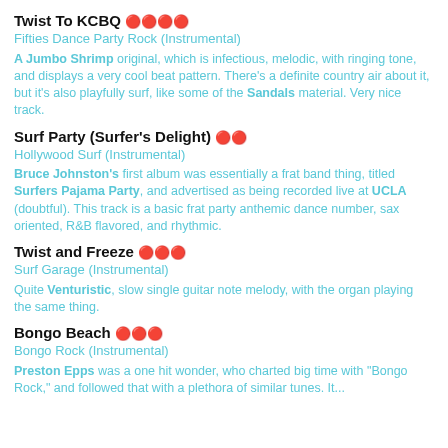Twist To KCBQ 🔴🔴🔴🔴
Fifties Dance Party Rock (Instrumental)
A Jumbo Shrimp original, which is infectious, melodic, with ringing tone, and displays a very cool beat pattern. There's a definite country air about it, but it's also playfully surf, like some of the Sandals material. Very nice track.
Surf Party (Surfer's Delight) 🔴🔴
Hollywood Surf (Instrumental)
Bruce Johnston's first album was essentially a frat band thing, titled Surfers Pajama Party, and advertised as being recorded live at UCLA (doubtful). This track is a basic frat party anthemic dance number, sax oriented, R&B flavored, and rhythmic.
Twist and Freeze 🔴🔴🔴
Surf Garage (Instrumental)
Quite Venturistic, slow single guitar note melody, with the organ playing the same thing.
Bongo Beach 🔴🔴🔴
Bongo Rock (Instrumental)
Preston Epps was a one hit wonder, who charted big time with "Bongo Rock," and followed that with a plethora of similar tunes. It...